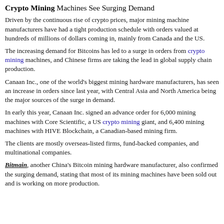Crypto Mining Machines See Surging Demand
Driven by the continuous rise of crypto prices, major mining machine manufacturers have had a tight production schedule with orders valued at hundreds of millions of dollars coming in, mainly from Canada and the US.
The increasing demand for Bitcoins has led to a surge in orders from crypto mining machines, and Chinese firms are taking the lead in global supply chain production.
Canaan Inc., one of the world's biggest mining hardware manufacturers, has seen an increase in orders since last year, with Central Asia and North America being the major sources of the surge in demand.
In early this year, Canaan Inc. signed an advance order for 6,000 mining machines with Core Scientific, a US crypto mining giant, and 6,400 mining machines with HIVE Blockchain, a Canadian-based mining firm.
The clients are mostly overseas-listed firms, fund-backed companies, and multinational companies.
Bitmain, another China's Bitcoin mining hardware manufacturer, also confirmed the surging demand, stating that most of its mining machines have been sold out and is working on more production.